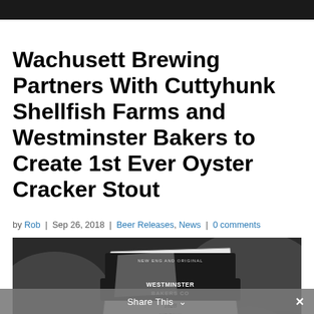Wachusett Brewing Partners With Cuttyhunk Shellfish Farms and Westminster Bakers to Create 1st Ever Oyster Cracker Stout
by Rob | Sep 26, 2018 | Beer Releases, News | 0 comments
[Figure (photo): Black and white photo of a Westminster Bakers Co. Oyster Crackers bag resting among oysters]
Share This